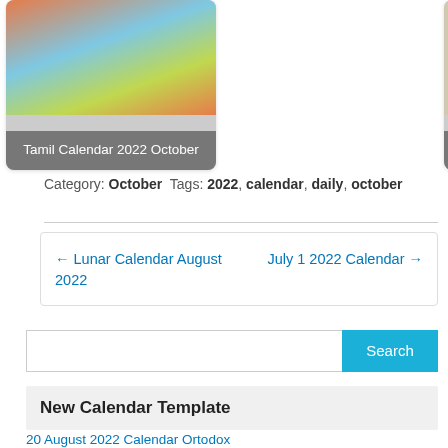[Figure (photo): Card showing Tamil Calendar 2022 October with a colorful temple image]
[Figure (photo): Card showing Tamil Daily Calendar 2022 April with a newspaper-like image]
Category: October Tags: 2022, calendar, daily, october
← Lunar Calendar August 2022    July 1 2022 Calendar →
Search
New Calendar Template
20 August 2022 Calendar Ortodox